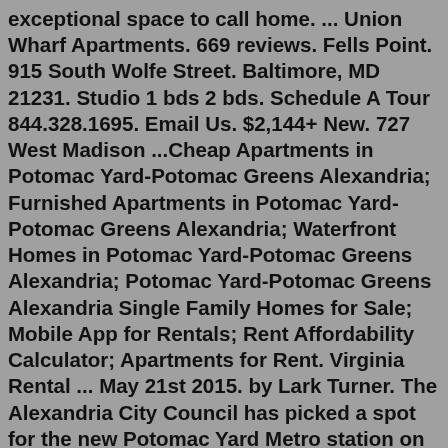exceptional space to call home. ... Union Wharf Apartments. 669 reviews. Fells Point. 915 South Wolfe Street. Baltimore, MD 21231. Studio 1 bds 2 bds. Schedule A Tour 844.328.1695. Email Us. $2,144+ New. 727 West Madison ...Cheap Apartments in Potomac Yard-Potomac Greens Alexandria; Furnished Apartments in Potomac Yard-Potomac Greens Alexandria; Waterfront Homes in Potomac Yard-Potomac Greens Alexandria; Potomac Yard-Potomac Greens Alexandria Single Family Homes for Sale; Mobile App for Rentals; Rent Affordability Calculator; Apartments for Rent. Virginia Rental ... May 21st 2015. by Lark Turner. The Alexandria City Council has picked a spot for the new Potomac Yard Metro station on the Yellow and Blue lines between the Braddock Road and National Airport stations. The new site "places the station in the best location to serve the largest number of potential Metrorail riders," according to a council ...Amenities. Reserve at Potomac Yard has 33 units. Reserve at Potomac Yard is on the nation's best ...